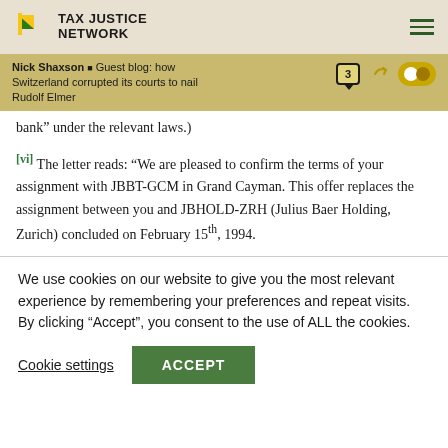Tax Justice Network
Nick Shaxson ▪ Guest blog: how Switzerland corrupted its courts to nail Rudolf Elmer
bank” under the relevant laws.)
[vi] The letter reads: “We are pleased to confirm the terms of your assignment with JBBT-GCM in Grand Cayman. This offer replaces the assignment between you and JBHOLD-ZRH (Julius Baer Holding, Zurich) concluded on February 15th, 1994.
We use cookies on our website to give you the most relevant experience by remembering your preferences and repeat visits. By clicking “Accept”, you consent to the use of ALL the cookies.
Cookie settings  ACCEPT